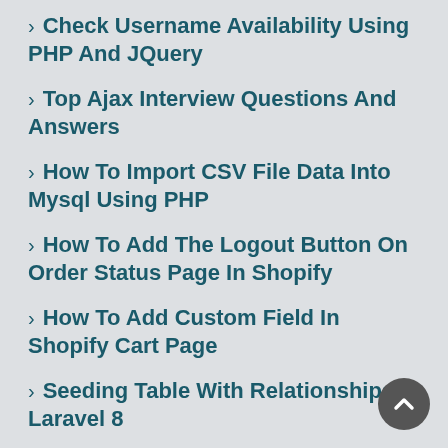› Check Username Availability Using PHP And JQuery
› Top Ajax Interview Questions And Answers
› How To Import CSV File Data Into Mysql Using PHP
› How To Add The Logout Button On Order Status Page In Shopify
› How To Add Custom Field In Shopify Cart Page
› Seeding Table With Relationships In Laravel 8
› URL Rewriting Is Not